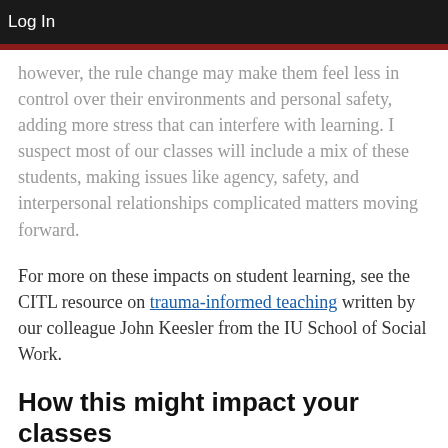Log In
however, the rule change may make them feel less in control over their environments and personal safety, adding more stress that can interfere with learning. I suspect most of our classes will include a mix of these students, making issues like agency, safety, and interpersonal relationships complicated matters moving forward.
For more on these impacts on student learning, see the CITL resource on trauma-informed teaching written by our colleague John Keesler from the IU School of Social Work.
How this might impact your classes
The impacts of these masking changes will vary widely